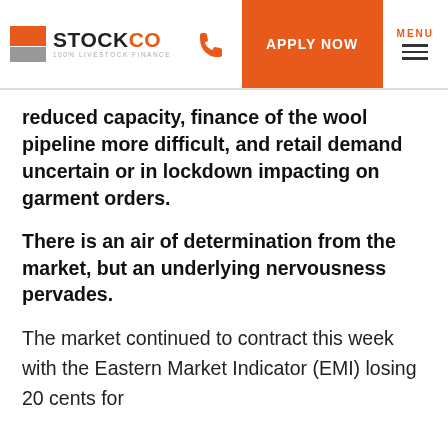STOCKCO 100% LIVESTOCK FINANCE | APPLY NOW | MENU
reduced capacity, finance of the wool pipeline more difficult, and retail demand uncertain or in lockdown impacting on garment orders.
There is an air of determination from the market, but an underlying nervousness pervades.
The market continued to contract this week with the Eastern Market Indicator (EMI) losing 20 cents for